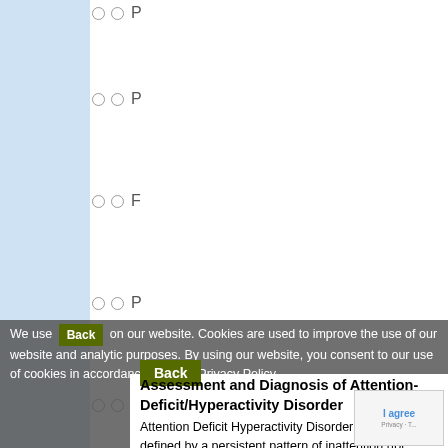P
P
F
P
C
P
H
H
H
H
We use cookies on our website. Cookies are used to improve the use of our website and analytic purposes. By using our website, you consent to our use of cookies in accordance with our Privacy Policy.
Read M...
Back
Assessment and Diagnosis of Attention-Deficit/Hyperactivity Disorder
Attention Deficit Hyperactivity Disorder (ADHD) is defined by a persistent pattern of inattention (for example, difficulty keeping focus) and/or